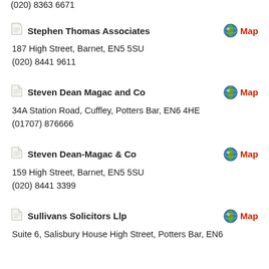(020) 8363 6671
Stephen Thomas Associates
187 High Street, Barnet, EN5 5SU
(020) 8441 9611
Steven Dean Magac and Co
34A Station Road, Cuffley, Potters Bar, EN6 4HE
(01707) 876666
Steven Dean-Magac & Co
159 High Street, Barnet, EN5 5SU
(020) 8441 3399
Sullivans Solicitors Llp
Suite 6, Salisbury House High Street, Potters Bar, EN6